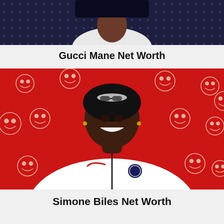[Figure (illustration): Illustrated portrait of Gucci Mane wearing a dark polka-dot jacket and white shirt, cropped at chest level, partial view at top of page]
Gucci Mane Net Worth
[Figure (illustration): Illustrated portrait of Simone Biles smiling, wearing a white USA Nike Olympic jacket, against a red background with white cartoon emoji-face pattern]
Simone Biles Net Worth